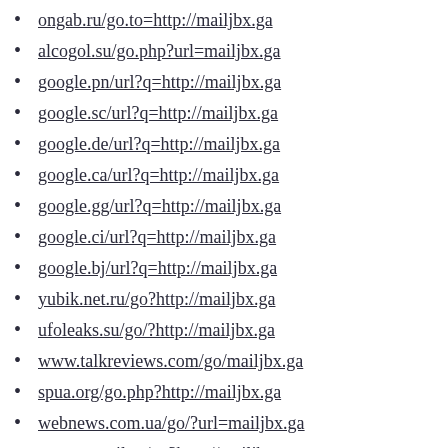ongab.ru/go.to=http://mailjbx.ga
alcogol.su/go.php?url=mailjbx.ga
google.pn/url?q=http://mailjbx.ga
google.sc/url?q=http://mailjbx.ga
google.de/url?q=http://mailjbx.ga
google.ca/url?q=http://mailjbx.ga
google.gg/url?q=http://mailjbx.ga
google.ci/url?q=http://mailjbx.ga
google.bj/url?q=http://mailjbx.ga
yubik.net.ru/go?http://mailjbx.ga
ufoleaks.su/go/?http://mailjbx.ga
www.talkreviews.com/go/mailjbx.ga
spua.org/go.php?http://mailjbx.ga
webnews.com.ua/go/?url=mailjbx.ga
my-wmmail.ru/go?http://mailjbx.ga
nafretiri.ru/go?http://mailjbx.ga
www.mueritz.de/extLink/mailjbx.ga
ww4.cef.es/trk/r.emt?h=mailjbx.ga
rint.ru/go/?url=http://mailjbx.ga